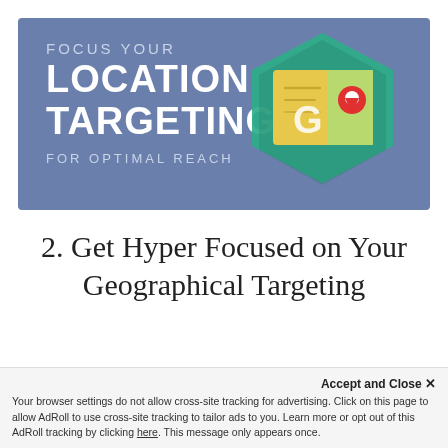[Figure (infographic): Banner with blue/slate background showing 'FOCUS YOUR LOCATION TARGETING FOR OPTIMAL REACH' text in white and light blue on the left, and a hexagon icon with a Google Maps-style logo (map image with location pin) on the right.]
2. Get Hyper Focused on Your Geographical Targeting
Accept and Close ×
Your browser settings do not allow cross-site tracking for advertising. Click on this page to allow AdRoll to use cross-site tracking to tailor ads to you. Learn more or opt out of this AdRoll tracking by clicking here. This message only appears once.